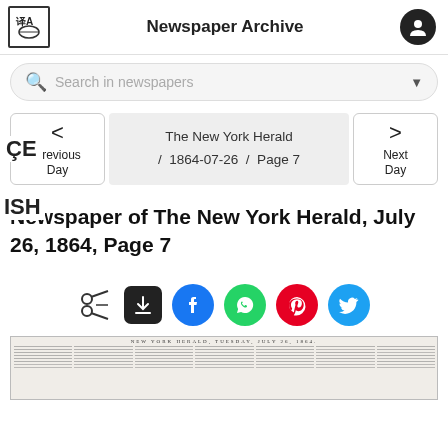Newspaper Archive
Search in newspapers
ÇE
ISH  < Previous Day  |  The New York Herald / 1864-07-26 / Page 7  |  > Next Day
Newspaper of The New York Herald, July 26, 1864, Page 7
[Figure (screenshot): Social sharing icons: scissors/clip, download (dark square), Facebook (blue circle), WhatsApp (green circle), Pinterest (red circle), Twitter (blue circle)]
[Figure (screenshot): Thumbnail of The New York Herald newspaper page dated Tuesday, July 26, 1864, showing multiple columns of text in small print]